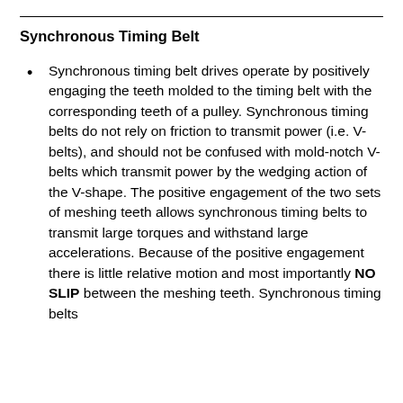Synchronous Timing Belt
Synchronous timing belt drives operate by positively engaging the teeth molded to the timing belt with the corresponding teeth of a pulley.  Synchronous timing belts do not rely on friction to transmit power (i.e. V-belts), and should not be confused with mold-notch V-belts which transmit power by the wedging action of the V-shape.  The positive engagement of the two sets of meshing teeth allows synchronous timing belts to transmit large torques and withstand large accelerations.  Because of the positive engagement there is little relative motion and most importantly NO SLIP between the meshing teeth.  Synchronous timing belts